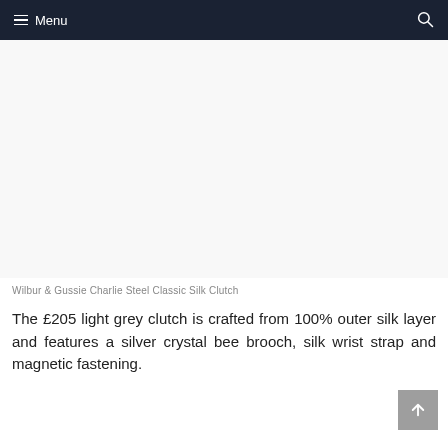Menu
[Figure (photo): Product image area for Wilbur & Gussie Charlie Steel Classic Silk Clutch — light grey silk clutch bag (image not loaded, white background shown)]
Wilbur & Gussie Charlie Steel Classic Silk Clutch
The £205 light grey clutch is crafted from 100% outer silk layer and features a silver crystal bee brooch, silk wrist strap and magnetic fastening.